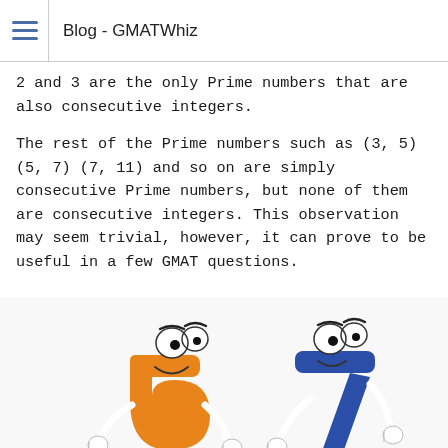Blog - GMATWhiz
2 and 3 are the only Prime numbers that are also consecutive integers.
The rest of the Prime numbers such as (3, 5) (5, 7) (7, 11) and so on are simply consecutive Prime numbers, but none of them are consecutive integers. This observation may seem trivial, however, it can prove to be useful in a few GMAT questions.
[Figure (illustration): Cartoon illustration of the numbers 5 (orange, with eyes and arms) and 7 (blue, with eyes and arms) as animated characters.]